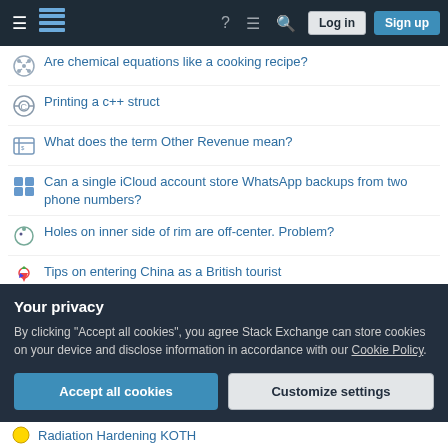Stack Exchange navigation bar with hamburger menu, logo, help, chat, search icons, Log in and Sign up buttons
Are chemical equations like a cooking recipe?
Printing a c++ struct
What does the term Other Revenue mean?
Can a single iCloud account store WhatsApp backups from two phone numbers?
Holes on inner side of rim are off-center. Problem?
Tips on entering China as a British tourist
Isn't the phrase "minutes show" grammatically weird at the end of this text?
How can I deal with students who are not interested in the class but the credits?
Your privacy
By clicking "Accept all cookies", you agree Stack Exchange can store cookies on your device and disclose information in accordance with our Cookie Policy.
[Accept all cookies] [Customize settings]
Radiation Hardening KOTH